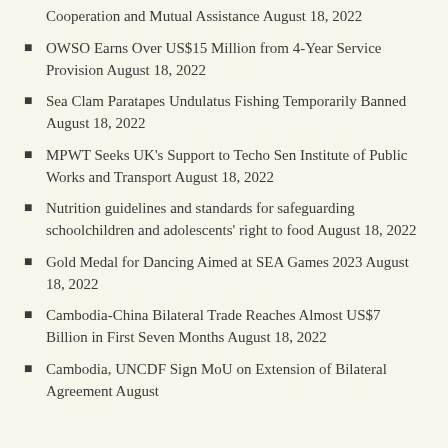Cooperation and Mutual Assistance August 18, 2022
OWSO Earns Over US$15 Million from 4-Year Service Provision August 18, 2022
Sea Clam Paratapes Undulatus Fishing Temporarily Banned August 18, 2022
MPWT Seeks UK's Support to Techo Sen Institute of Public Works and Transport August 18, 2022
Nutrition guidelines and standards for safeguarding schoolchildren and adolescents' right to food August 18, 2022
Gold Medal for Dancing Aimed at SEA Games 2023 August 18, 2022
Cambodia-China Bilateral Trade Reaches Almost US$7 Billion in First Seven Months August 18, 2022
Cambodia, UNCDF Sign MoU on Extension of Bilateral Agreement August…